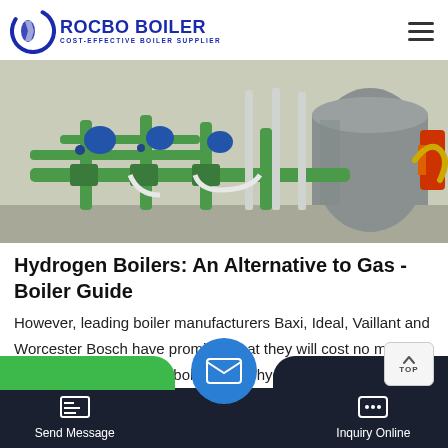ROCBO BOILER — COST-EFFECTIVE BOILER SUPPLIER
[Figure (photo): Industrial boiler room with green pipes, pumps, valves, and a large cylindrical boiler tank with red burner component on the right.]
Hydrogen Boilers: An Alternative to Gas - Boiler Guide
However, leading boiler manufacturers Baxi, Ideal, Vaillant and Worcester Bosch have promised that they will cost no more than the equivalent gas boiler. So, a hydrogen-ready boiler could cost somewhere between £500 to £3,000 before installation. Boiler…
Send Message | Inquiry Online